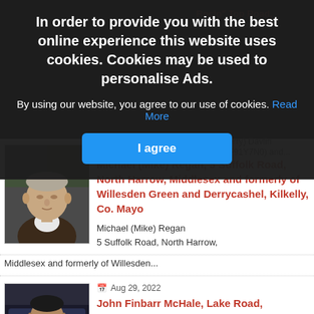[Figure (screenshot): Cookie consent overlay on a website obituary listing page. The overlay shows bold white text about cookies, a blue hyperlink 'Read More', and a blue 'I agree' button. Behind the overlay are partially visible red obituary listing titles and a portrait photo of an elderly man. Below the overlay are two obituary listings with photos and details about Michael (Mike) Regan and John Finbarr McHale.]
In order to provide you with the best online experience this website uses cookies. Cookies may be used to personalise Ads.
By using our website, you agree to our use of cookies. Read More
I agree
Aug 29, 2022
Michael (Mike) Regan, 5 Suffolk Road, North Harrow, Middlesex and formerly of Willesden Green and Derrycashel, Kilkelly, Co. Mayo
Michael (Mike) Regan
5 Suffolk Road, North Harrow,
Middlesex and formerly of Willesden...
Aug 29, 2022
John Finbarr McHale, Lake Road, Tavanaghmore, Foxford